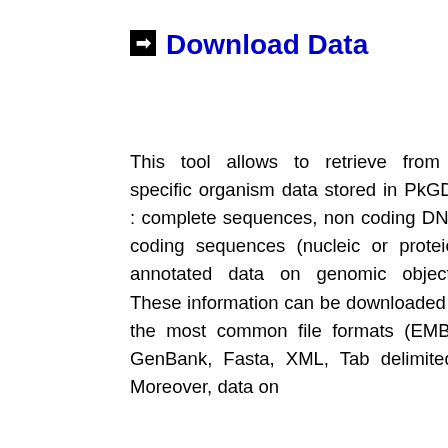➡ Download Data
This tool allows to retrieve from a specific organism data stored in PkGDB : complete sequences, non coding DNA, coding sequences (nucleic or proteic), annotated data on genomic objects. These information can be downloaded in the most common file formats (EMBL, GenBank, Fasta, XML, Tab delimited). Moreover, data on